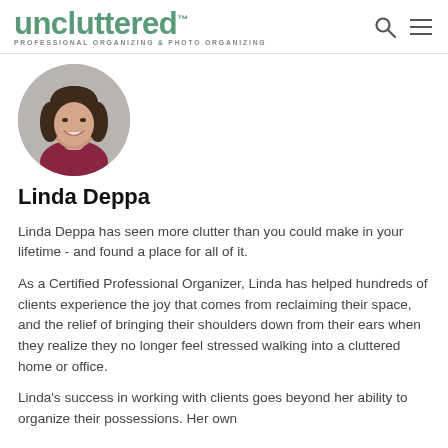uncluttered™ PROFESSIONAL ORGANIZING & PHOTO ORGANIZING
[Figure (photo): Circular profile photo of Linda Deppa, a woman with brown hair, smiling, wearing a dark red top, against a gray background.]
Linda Deppa
Linda Deppa has seen more clutter than you could make in your lifetime - and found a place for all of it.
As a Certified Professional Organizer, Linda has helped hundreds of clients experience the joy that comes from reclaiming their space, and the relief of bringing their shoulders down from their ears when they realize they no longer feel stressed walking into a cluttered home or office.
Linda's success in working with clients goes beyond her ability to organize their possessions. Her own